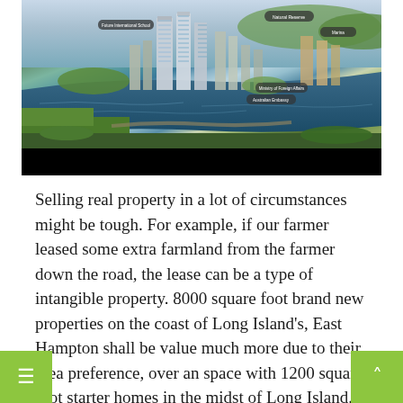[Figure (photo): Aerial/bird's-eye view rendering of a waterfront urban development with tall skyscrapers, river or bay, and green areas. A black bar appears at the bottom of the image.]
Selling real property in a lot of circumstances might be tough. For example, if our farmer leased some extra farmland from the farmer down the road, the lease can be a type of intangible property. 8000 square foot brand new properties on the coast of Long Island's, East Hampton shall be value much more due to their area preference, over an space with 1200 square foot starter homes in the midst of Long Island.